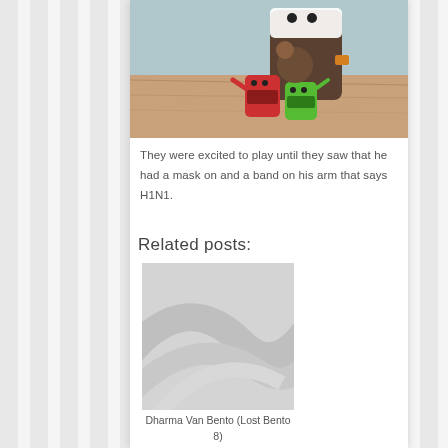[Figure (photo): Photo of toy figurines: a large brown Domo plush wearing a white face mask and an orange H1N1 armband, with a small red Domo and small green Domo figurine standing in front on a wooden table.]
They were excited to play until they saw that he had a mask on and a band on his arm that says H1N1.
Related posts:
[Figure (photo): Placeholder image with gray diagonal swoosh pattern for a related post thumbnail.]
Dharma Van Bento (Lost Bento 8)